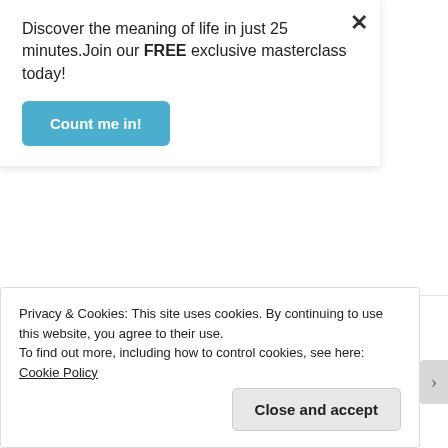Discover the meaning of life in just 25 minutes.Join our FREE exclusive masterclass today!
Count me in!
Reply
joshuainfantado
February 10, 2021 at 9:11 am
Privacy & Cookies: This site uses cookies. By continuing to use this website, you agree to their use.
To find out more, including how to control cookies, see here: Cookie Policy
Close and accept